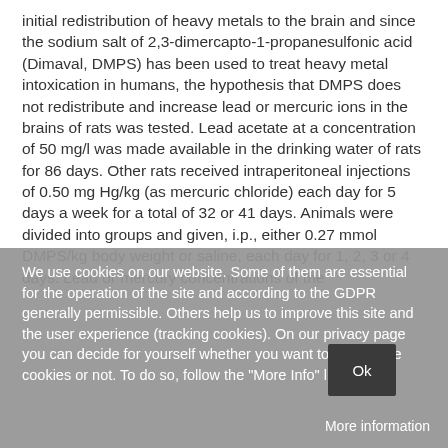initial redistribution of heavy metals to the brain and since the sodium salt of 2,3-dimercapto-1-propanesulfonic acid (Dimaval, DMPS) has been used to treat heavy metal intoxication in humans, the hypothesis that DMPS does not redistribute and increase lead or mercuric ions in the brains of rats was tested. Lead acetate at a concentration of 50 mg/l was made available in the drinking water of rats for 86 days. Other rats received intraperitoneal injections of 0.50 mg Hg/kg (as mercuric chloride) each day for 5 days a week for a total of 32 or 41 days. Animals were divided into groups and given, i.p., either 0.27 mmol DMPS/kg body weight or saline, each day for 1, 2, 3 or 4 days. Lead or mercury concentrations of the
We use cookies on our website. Some of them are essential for the operation of the site and according to the GDPR generally permissible. Others help us to improve this site and the user experience (tracking cookies). On our privacy page you can decide for yourself whether you want to allow these cookies or not. To do so, follow the "More Info" link below.